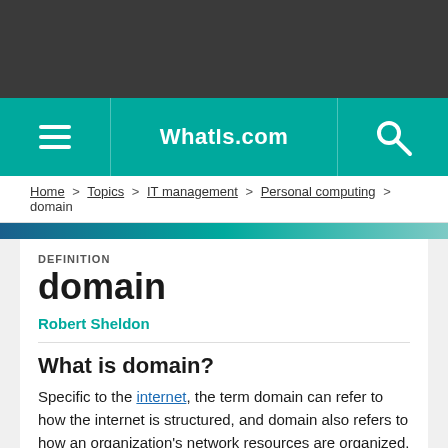WhatIs.com
Home > Topics > IT management > Personal computing > domain
DEFINITION
domain
Robert Sheldon
What is domain?
Specific to the internet, the term domain can refer to how the internet is structured, and domain also refers to how an organization's network resources are organized. In general, a domain is an area of control or a sphere of knowledge.